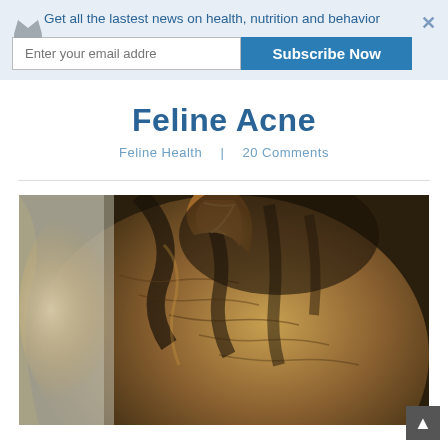Get all the lastest news on health, nutrition and behavior
Enter your email addre
Subscribe Now
Feline Acne
Feline Health  |  20 Comments
[Figure (photo): Close-up photograph of a tabby cat's head from above, showing the fur patterns in brown, black, and golden tones, with one ear visible and the cat appearing to rest.]